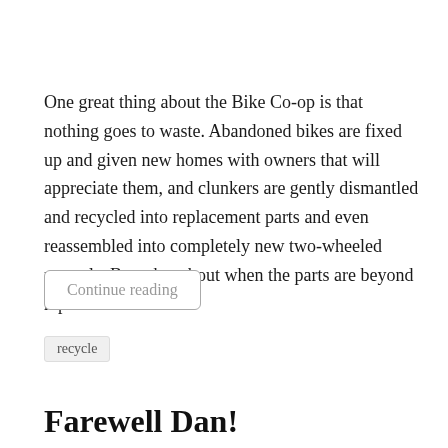One great thing about the Bike Co-op is that nothing goes to waste. Abandoned bikes are fixed up and given new homes with owners that will appreciate them, and clunkers are gently dismantled and recycled into replacement parts and even reassembled into completely new two-wheeled marvels. But what about when the parts are beyond repair?
Continue reading
recycle
Farewell Dan!